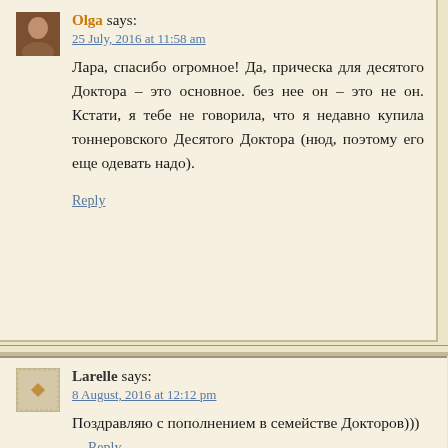Olga says:
25 July, 2016 at 11:58 am
Лара, спасибо огромное! Да, прическа для десятого Доктора – это основное. без нее он – это не он. Кстати, я тебе не говорила, что я недавно купила тоннеровского Десятого Доктора (нюд, поэтому его еще одевать надо).
Reply
Larelle says:
8 August, 2016 at 12:12 pm
Поздравляю с пополнением в семействе Докторов)))
Reply